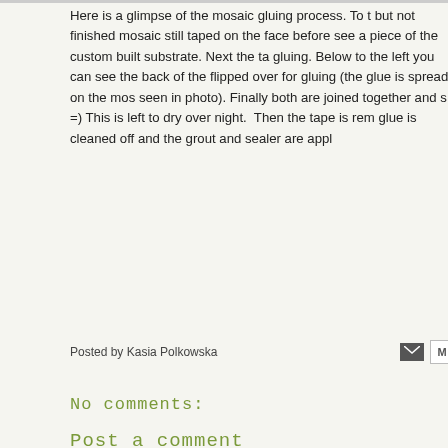Here is a glimpse of the mosaic gluing process. To t but not finished mosaic still taped on the face before see a piece of the custom built substrate. Next the ta gluing. Below to the left you can see the back of the flipped over for gluing (the glue is spread on the mos seen in photo). Finally both are joined together and s =) This is left to dry over night.  Then the tape is rem glue is cleaned off and the grout and sealer are appl
Posted by Kasia Polkowska
No comments:
Post a comment
Enter Comment